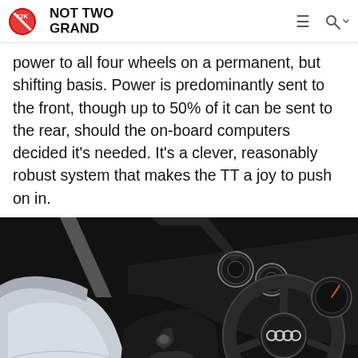NOT TWO GRAND
power to all four wheels on a permanent, but shifting basis. Power is predominantly sent to the front, though up to 50% of it can be sent to the rear, should the on-board computers decided it's needed. It's a clever, reasonably robust system that makes the TT a joy to push on in.
[Figure (photo): Interior of an Audi TT showing white leather seats, black dashboard, gear shifter, steering wheel with Audi rings logo, and circular air vents.]